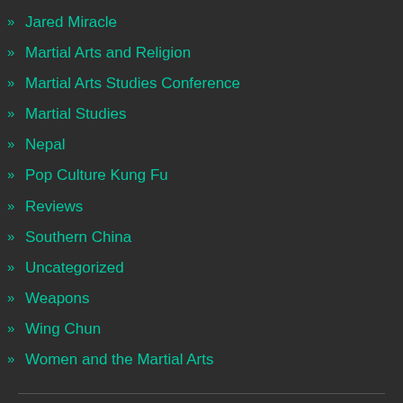Jared Miracle
Martial Arts and Religion
Martial Arts Studies Conference
Martial Studies
Nepal
Pop Culture Kung Fu
Reviews
Southern China
Uncategorized
Weapons
Wing Chun
Women and the Martial Arts